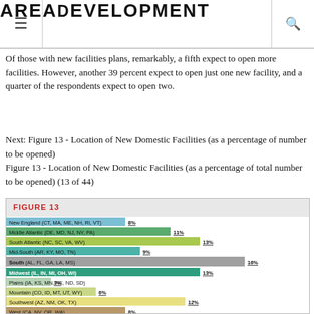AREA DEVELOPMENT
Of those with new facilities plans, remarkably, a fifth expect to open more facilities. However, another 39 percent expect to open just one new facility, and a quarter of the respondents expect to open two.
Next: Figure 13 - Location of New Domestic Facilities (as a percentage of number to be opened)
Figure 13 - Location of New Domestic Facilities (as a percentage of total number to be opened) (13 of 44)
[Figure (bar-chart): FIGURE 13]